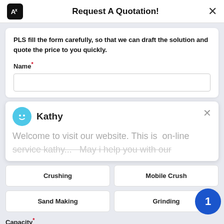Request A Quotation!
PLS fill the form carefully, so that we can draft the solution and quote the price to you quickly.
Name*
[Figure (screenshot): Chat popup with avatar and name 'Kathy', message: 'Welcome to visit our website. This is on-line service kathy... May i help you with our']
Crushing
Mobile Crush
Sand Making
Grinding
Capacity*
>50 TPH
>30 TPH